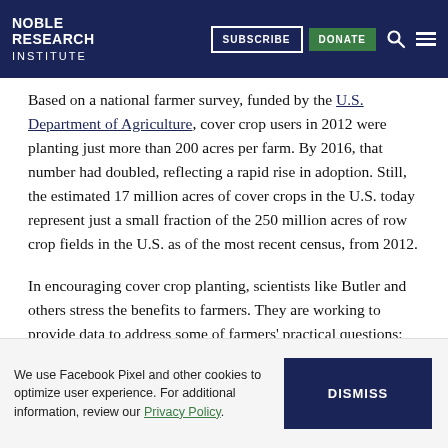Noble Research Institute | SUBSCRIBE | DONATE
Based on a national farmer survey, funded by the U.S. Department of Agriculture, cover crop users in 2012 were planting just more than 200 acres per farm. By 2016, that number had doubled, reflecting a rapid rise in adoption. Still, the estimated 17 million acres of cover crops in the U.S. today represent just a small fraction of the 250 million acres of row crop fields in the U.S. as of the most recent census, from 2012.
In encouraging cover crop planting, scientists like Butler and others stress the benefits to farmers. They are working to provide data to address some of farmers' practical questions: Which is the best type of crop to use for which
We use Facebook Pixel and other cookies to optimize user experience. For additional information, review our Privacy Policy.